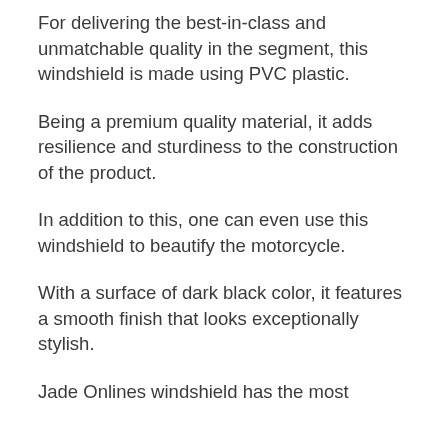For delivering the best-in-class and unmatchable quality in the segment, this windshield is made using PVC plastic.
Being a premium quality material, it adds resilience and sturdiness to the construction of the product.
In addition to this, one can even use this windshield to beautify the motorcycle.
With a surface of dark black color, it features a smooth finish that looks exceptionally stylish.
Jade Onlines windshield has the most (continues below)